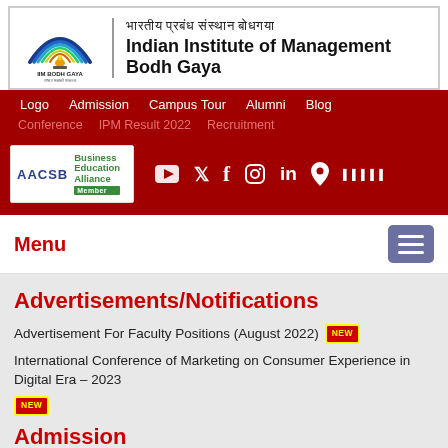[Figure (logo): IIM Bodh Gaya logo with rainbow arch, lamp, and text IIM BODH GAYA, alongside institutional name in Hindi and English: Indian Institute of Management Bodh Gaya]
Logo  Admission  Campus Tour  Alumni  Blog  Conference  IPM Result 2022  Recruitment
[Figure (logo): AACSB Business Education Alliance Member badge]
Social media icons: YouTube, Twitter, Facebook, Instagram, LinkedIn, Location
Menu
Advertisements/Notifications
Advertisement For Faculty Positions (August 2022) NEW
International Conference of Marketing on Consumer Experience in Digital Era – 2023 NEW
Admission
IPM 2022 Admission, Result Declared  Click Here